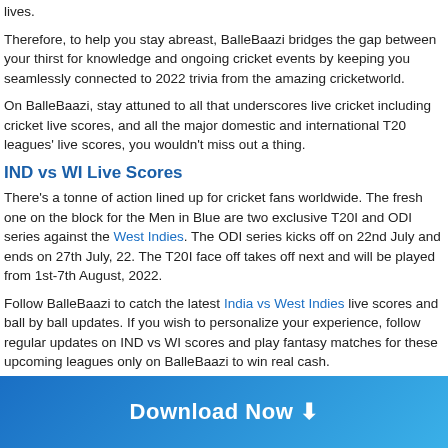lives.
Therefore, to help you stay abreast, BalleBaazi bridges the gap between your thirst for knowledge and ongoing cricket events by keeping you seamlessly connected to 2022 trivia from the amazing cricketworld.
On BalleBaazi, stay attuned to all that underscores live cricket including cricket live scores, and all the major domestic and international T20 leagues' live scores, you wouldn't miss out a thing.
IND vs WI Live Scores
There's a tonne of action lined up for cricket fans worldwide. The fresh one on the block for the Men in Blue are two exclusive T20I and ODI series against the West Indies. The ODI series kicks off on 22nd July and ends on 27th July, 22. The T20I face off takes off next and will be played from 1st-7th August, 2022.
Follow BalleBaazi to catch the latest India vs West Indies live scores and ball by ball updates. If you wish to personalize your experience, follow regular updates on IND vs WI scores and play fantasy matches for these upcoming leagues only on BalleBaazi to win real cash.
The Hundred Live Score: Men's and Women's
The Hundred is a relatively new cricketing franchise of 100-ball tournaments
Download Now ⬇